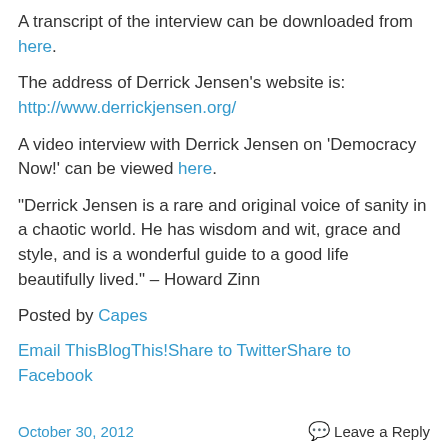A transcript of the interview can be downloaded from here.
The address of Derrick Jensen's website is: http://www.derrickjensen.org/
A video interview with Derrick Jensen on 'Democracy Now!' can be viewed here.
“Derrick Jensen is a rare and original voice of sanity in a chaotic world. He has wisdom and wit, grace and style, and is a wonderful guide to a good life beautifully lived.” – Howard Zinn
Posted by Capes
Email ThisBlogThis!Share to TwitterShare to Facebook
October 30, 2012    Leave a Reply